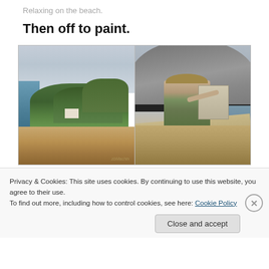Relaxing on the beach.
Then off to paint.
[Figure (photo): Two photos side by side: left shows a plein air oil painting of a beach scene with green trees, blue-grey sky and sandy shore; right shows a woman artist wearing a hat painting outdoors on a beach under a large umbrella with an easel.]
Privacy & Cookies: This site uses cookies. By continuing to use this website, you agree to their use.
To find out more, including how to control cookies, see here: Cookie Policy